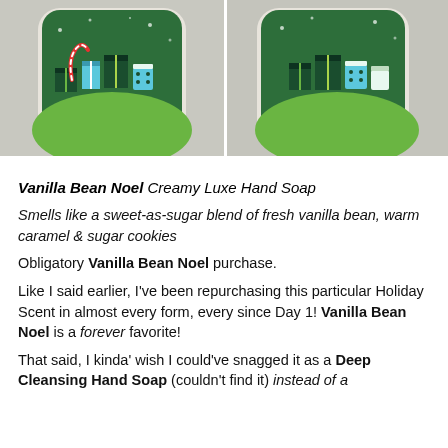[Figure (photo): Two side-by-side photos of a hand soap bottle with a green holiday-themed label featuring gift boxes and decorative elements. Left image shows the front of the bottle, right image shows a slightly different angle.]
Vanilla Bean Noel Creamy Luxe Hand Soap
Smells like a sweet-as-sugar blend of fresh vanilla bean, warm caramel & sugar cookies
Obligatory Vanilla Bean Noel purchase.
Like I said earlier, I've been repurchasing this particular Holiday Scent in almost every form, every since Day 1! Vanilla Bean Noel is a forever favorite!
That said, I kinda' wish I could've snagged it as a Deep Cleansing Hand Soap (couldn't find it) instead of a